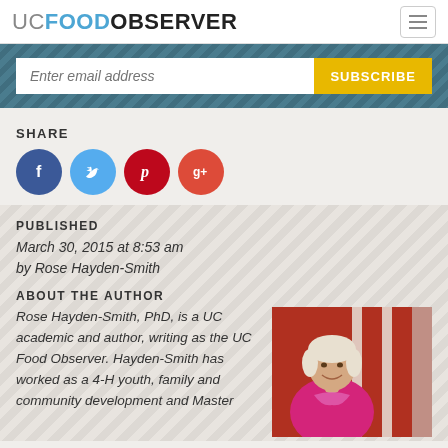UC FOOD OBSERVER
Enter email address
SUBSCRIBE
SHARE
[Figure (infographic): Social media share icons: Facebook (blue circle with f), Twitter (light blue circle with bird), Pinterest (dark red circle with P), Google+ (orange-red circle with g+)]
PUBLISHED
March 30, 2015 at 8:53 am
by Rose Hayden-Smith
ABOUT THE AUTHOR
Rose Hayden-Smith, PhD, is a UC academic and author, writing as the UC Food Observer. Hayden-Smith has worked as a 4-H youth, family and community development and Master
[Figure (photo): Portrait photo of Rose Hayden-Smith, a woman with short white/blonde hair and a warm smile, wearing a bright pink jacket, standing in front of a red barn wall.]